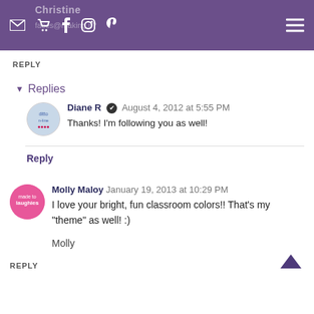Christine — [social icons] — hamburger menu
REPLY
▼ Replies
Diane R ✔ August 4, 2012 at 5:55 PM
Thanks! I'm following you as well!
Reply
Molly Maloy January 19, 2013 at 10:29 PM
I love your bright, fun classroom colors!! That's my "theme" as well! :)

Molly
REPLY